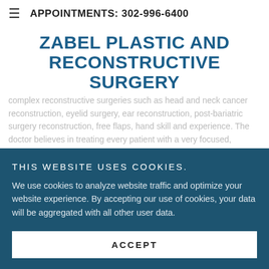APPOINTMENTS: 302-996-6400
ZABEL PLASTIC AND RECONSTRUCTIVE SURGERY
complex reconstructive surgeries such as head and neck cancer reconstruction, eyelid surgery, ear reconstruction, post-bariatric surgery reconstruction, free flaps, hand skill and experience. The doctor believes in treating every patient with a very focused, personalized approach — and he carefully combines skill and artistry to deliver beautiful, natural-looking results.
SPECIALIZED SERVICES
THIS WEBSITE USES COOKIES.
We use cookies to analyze website traffic and optimize your website experience. By accepting our use of cookies, your data will be aggregated with all other user data.
ACCEPT